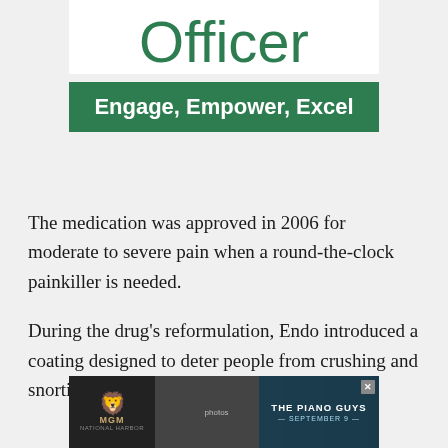[Figure (other): Advertisement banner showing partial word 'Officer' in green teal color with tagline 'Engage, Empower, Excel' on dark green background]
The medication was approved in 2006 for moderate to severe pain when a round-the-clock painkiller is needed.
During the drug's reformulation, Endo introduced a coating designed to deter people from crushing and snorting the medication.
[Figure (other): MGM advertisement banner featuring 'The Piano Guys - September 9' text overlay on dark background with MGM lion logo]